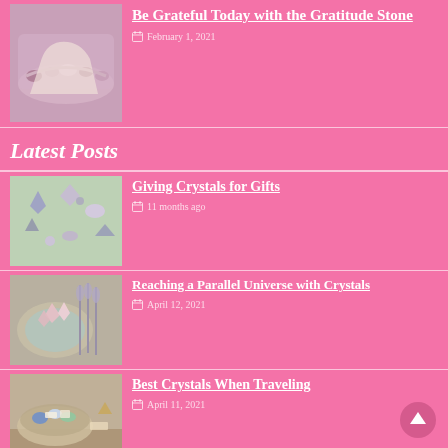[Figure (photo): Hand wearing a pink/mauve beaded bracelet with gemstones]
Be Grateful Today with the Gratitude Stone
February 1, 2021
Latest Posts
[Figure (photo): Assorted crystals and gemstones scattered on a surface]
Giving Crystals for Gifts
11 months ago
[Figure (photo): Rose quartz crystals in an abalone shell with dried lavender]
Reaching a Parallel Universe with Crystals
April 12, 2021
[Figure (photo): Bowl of assorted crystals and gemstones on a wooden surface]
Best Crystals When Traveling
April 11, 2021
[Figure (photo): Person with afro hair in an orange shirt near bookshelves]
How to Get Negativity Out of Your House
April 7, 2021